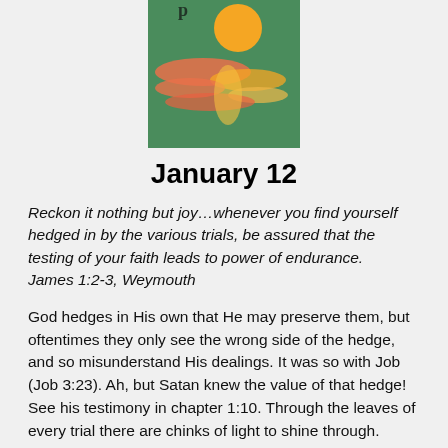[Figure (illustration): Book cover showing a green background with an orange sun and river/landscape scene with pink and orange cloud-like shapes]
January 12
Reckon it nothing but joy…whenever you find yourself hedged in by the various trials, be assured that the testing of your faith leads to power of endurance. James 1:2-3, Weymouth
God hedges in His own that He may preserve them, but oftentimes they only see the wrong side of the hedge, and so misunderstand His dealings. It was so with Job (Job 3:23). Ah, but Satan knew the value of that hedge! See his testimony in chapter 1:10. Through the leaves of every trial there are chinks of light to shine through. Thorns do